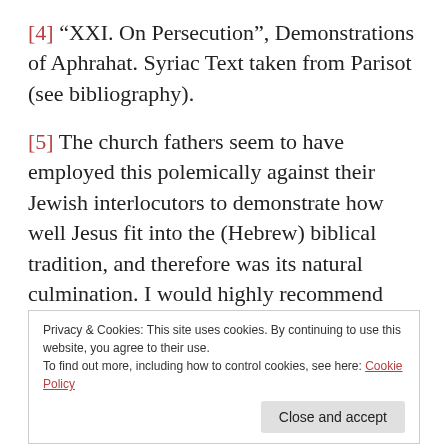[4] “XXI. On Persecution”, Demonstrations of Aphrahat. Syriac Text taken from Parisot (see bibliography).
[5] The church fathers seem to have employed this polemically against their Jewish interlocutors to demonstrate how well Jesus fit into the (Hebrew) biblical tradition, and therefore was its natural culmination. I would highly recommend Marx’s essay as found in the bibliography.
Privacy & Cookies: This site uses cookies. By continuing to use this website, you agree to their use.
To find out more, including how to control cookies, see here: Cookie Policy
[6] Yusuf Muhammad al-ʿAmeri writes, “The